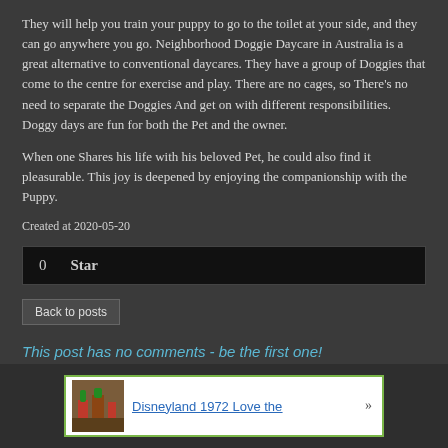They will help you train your puppy to go to the toilet at your side, and they can go anywhere you go. Neighborhood Doggie Daycare in Australia is a great alternative to conventional daycares. They have a group of Doggies that come to the centre for exercise and play. There are no cages, so There's no need to separate the Doggies And get on with different responsibilities. Doggy days are fun for both the Pet and the owner.
When one Shares his life with his beloved Pet, he could also find it pleasurable. This joy is deepened by enjoying the companionship with the Puppy.
Created at 2020-05-20
| 0 | Star |
Back to posts
This post has no comments - be the first one!
UNDER MAINTENANCE
Disneyland 1972 Love the